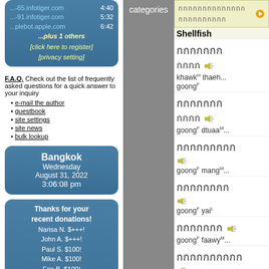...-85.infotiger.com 4:40
...-91.infotiger.com 5:32
...plebot.apple.com 6:42
...plus 1 others
[click here to register]
[privacy setting]
F.A.Q. Check out the list of frequently asked questions for a quick answer to your inquiry
e-mail the author
guestbook
site settings
site news
bulk lookup
Bangkok
Wednesday
August 31, 2022
3:06:08 pm
Thanks for your recent donations!
Narisa N. $+++!
John A. $+++!
Paul S. $100!
Mike A. $100!
Eric B. $100!
John Karl L. $100!
Don S. $100!
John S. $100!
Peter B. $100!
Inon B $50
categories
Shellfish
กุ้งทะเล  khawkH thaeh...
กุ้ง  goongF
กุ้งตัว  goongF dtuaaM...
กุ้งมังกร  goongF mangM...
กุ้งใหญ่  goongF yaiL
กุ้งฝอย  goongF faawyM...
ทอดมัน  thaawt F manM...